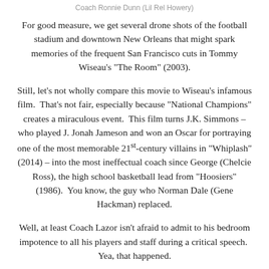Coach Ronnie Dunn (Lil Rel Howery)
For good measure, we get several drone shots of the football stadium and downtown New Orleans that might spark memories of the frequent San Francisco cuts in Tommy Wiseau’s “The Room” (2003).
Still, let’s not wholly compare this movie to Wiseau’s infamous film.  That’s not fair, especially because “National Champions” creates a miraculous event.  This film turns J.K. Simmons – who played J. Jonah Jameson and won an Oscar for portraying one of the most memorable 21st-century villains in “Whiplash” (2014) – into the most ineffectual coach since George (Chelcie Ross), the high school basketball lead from “Hoosiers” (1986).  You know, the guy who Norman Dale (Gene Hackman) replaced.
Well, at least Coach Lazor isn’t afraid to admit to his bedroom impotence to all his players and staff during a critical speech.  Yea, that happened.
★ 1/2 out of ★★★★